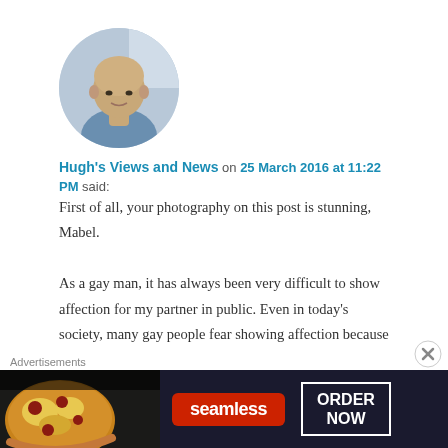[Figure (photo): Circular avatar photo of an older bald man in a blue shirt, with a light background.]
Hugh's Views and News on 25 March 2016 at 11:22 PM said:
First of all, your photography on this post is stunning, Mabel.

As a gay man, it has always been very difficult to show affection for my partner in public. Even in today's society, many gay people fear showing affection because of the fear of insults from others. I have seen a few same-sex couple holding hands and
Advertisements
[Figure (screenshot): Seamless food delivery advertisement banner with pizza image on left, red Seamless logo badge in center, and ORDER NOW button in white box on dark background.]